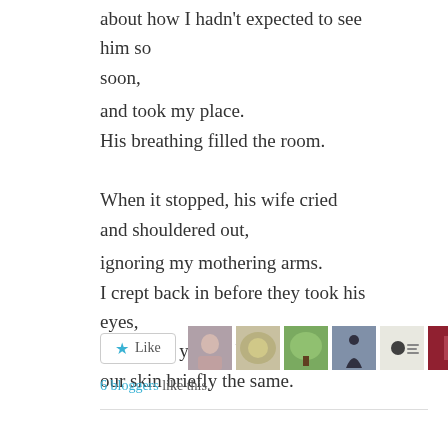about how I hadn't expected to see him so soon,
and took my place.
His breathing filled the room.
When it stopped, his wife cried
and shouldered out,
ignoring my mothering arms.
I crept back in before they took his eyes,
kissed his yellow brow,
our skin briefly the same.
[Figure (other): Like button with star icon and 6 blogger avatar thumbnails]
6 bloggers like this.